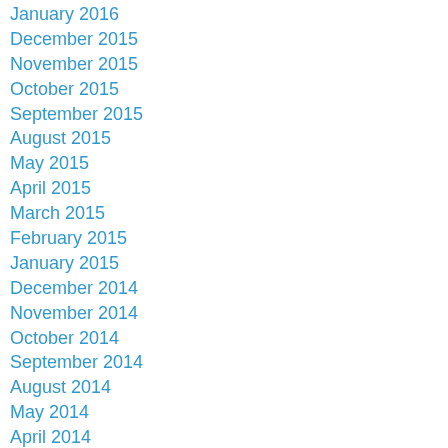January 2016
December 2015
November 2015
October 2015
September 2015
August 2015
May 2015
April 2015
March 2015
February 2015
January 2015
December 2014
November 2014
October 2014
September 2014
August 2014
May 2014
April 2014
March 2014
February 2014
January 2014